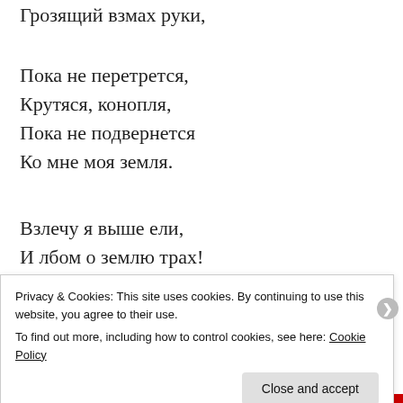Грозящий взмах руки,
Пока не перетрется,
Крутяся, конопля,
Пока не подвернется
Ко мне моя земля.
Взлечу я выше ели,
И лбом о землю трах!
Качай же, черт, качели,
Все выше, выше... ах!
Sponsored Content
Privacy & Cookies: This site uses cookies. By continuing to use this website, you agree to their use.
To find out more, including how to control cookies, see here: Cookie Policy
Close and accept